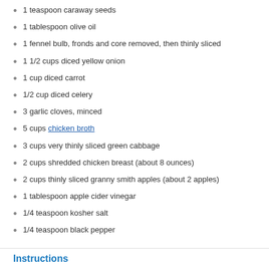1 teaspoon caraway seeds
1 tablespoon olive oil
1 fennel bulb, fronds and core removed, then thinly sliced
1 1/2 cups diced yellow onion
1 cup diced carrot
1/2 cup diced celery
3 garlic cloves, minced
5 cups chicken broth
3 cups very thinly sliced green cabbage
2 cups shredded chicken breast (about 8 ounces)
2 cups thinly sliced granny smith apples (about 2 apples)
1 tablespoon apple cider vinegar
1/4 teaspoon kosher salt
1/4 teaspoon black pepper
Instructions
Heat a Dutch oven over medium heat. Add caraway seeds, cooking for 2 minutes while stirring constantly until toasted and fragrant. Transfer to a spice grinder or mortar and pestle and process until ground.
Heat olive oil in the same Dutch oven over medium heat. Add the onion, carrot, fennel, celery, and garlic. Cook for 6 minutes, until veggies have softened and the garlic is fragrant. Add the ground spices and cook for another 30 seconds.